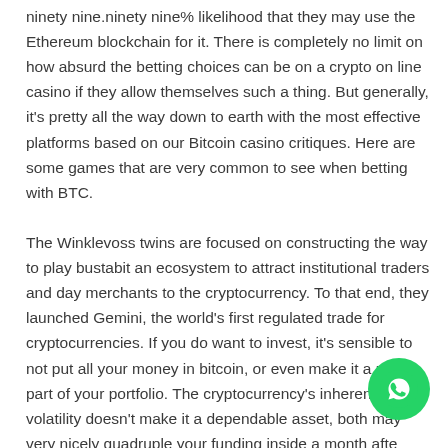ninety nine.ninety nine% likelihood that they may use the Ethereum blockchain for it. There is completely no limit on how absurd the betting choices can be on a crypto on line casino if they allow themselves such a thing. But generally, it's pretty all the way down to earth with the most effective platforms based on our Bitcoin casino critiques. Here are some games that are very common to see when betting with BTC.
The Winklevoss twins are focused on constructing the way to play bustabit an ecosystem to attract institutional traders and day merchants to the cryptocurrency. To that end, they launched Gemini, the world's first regulated trade for cryptocurrencies. If you do want to invest, it's sensible to not put all your money in bitcoin, or even make it a major part of your portfolio. The cryptocurrency's inherent volatility doesn't make it a dependable asset, both may very nicely quadruple your funding inside a month after all it is also possible. With this in the net to sho...
[Figure (other): WhatsApp floating action button (green circle with white phone/chat icon)]